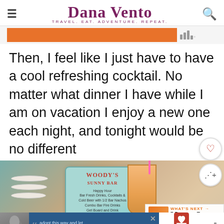Dana Vento — TRAVEL. EAT. ADVENTURE. REPEAT.
[Figure (screenshot): Orange advertisement banner partially visible at top]
Then, I feel like I just have to have a cool refreshing cocktail. No matter what dinner I have while I am on vacation I enjoy a new one each night, and tonight would be no different
[Figure (photo): Photo of a restaurant menu card (Woody's Sunny Bar) and a cocktail drink on a table, with a 'What's Next: 7 Reasons To Visit Panam...' overlay card]
WHAT'S NEXT → 7 Reasons To Visit Panam...
[Figure (screenshot): Advertisement bar at bottom: person photo, quote about adoption, Dave Thomas Foundation for Adoption logo]